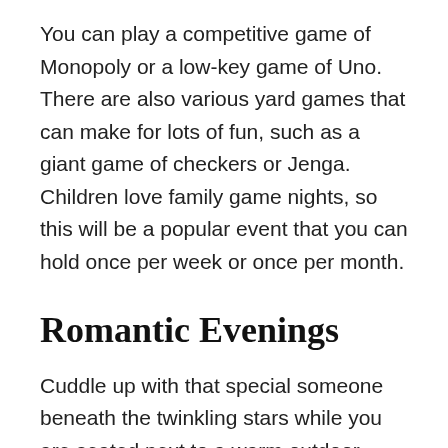You can play a competitive game of Monopoly or a low-key game of Uno. There are also various yard games that can make for lots of fun, such as a giant game of checkers or Jenga. Children love family game nights, so this will be a popular event that you can hold once per week or once per month.
Romantic Evenings
Cuddle up with that special someone beneath the twinkling stars while you are seated next to a warm outdoor fireplace. Grab a blanket, two glasses of wine, and spend quality time